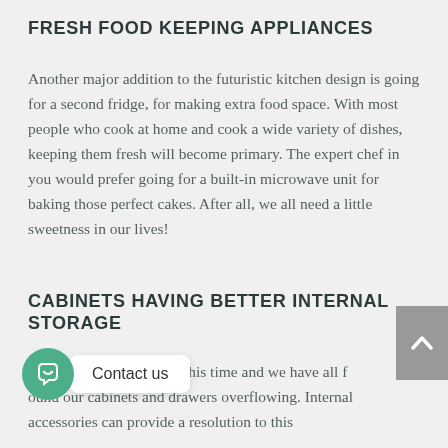FRESH FOOD KEEPING APPLIANCES
Another major addition to the futuristic kitchen design is going for a second fridge, for making extra food space. With most people who cook at home and cook a wide variety of dishes, keeping them fresh will become primary. The expert chef in you would prefer going for a built-in microwave unit for baking those perfect cakes. After all, we all need a little sweetness in our lives!
CABINETS HAVING BETTER INTERNAL STORAGE
All are buying in bulk at this time and we have all found our cabinets and drawers overflowing. Internal accessories can provide a resolution to this problem.